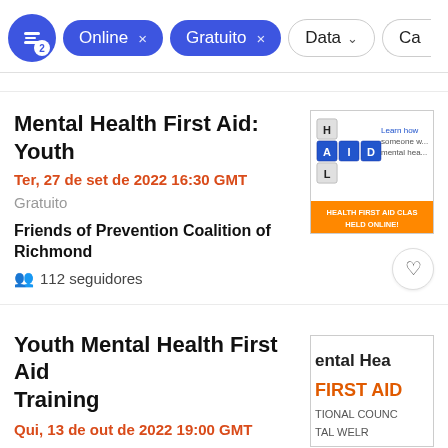Filter buttons: [filter icon with badge 2] [Online ×] [Gratuito ×] [Data ∨] [Ca...]
Mental Health First Aid: Youth
Ter, 27 de set de 2022 16:30 GMT
Gratuito
Friends of Prevention Coalition of Richmond
112 seguidores
[Figure (photo): Mental Health First Aid event thumbnail showing letter tiles spelling HEALTH AID and text 'Learn how someone w... mental hea... HEALTH FIRST AID CLAS HELD ONLINE!']
Youth Mental Health First Aid Training
Qui, 13 de out de 2022 19:00 GMT
[Figure (photo): Youth Mental Health First Aid Training thumbnail showing partial text 'ental Hea FIRST AID TIONAL COUNC TAL WELR']